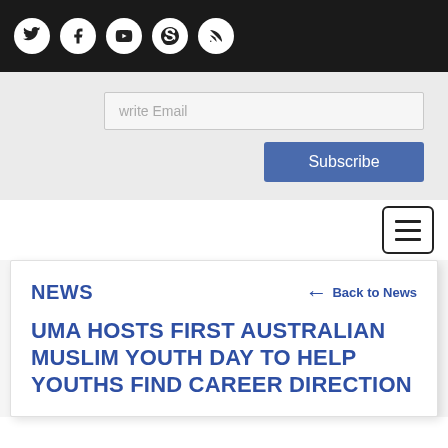[Social media icons: Twitter, Facebook, YouTube, Skype, RSS]
write Email
Subscribe
[Figure (other): Hamburger menu button (three horizontal lines in a rounded rectangle border)]
NEWS
← Back to News
UMA HOSTS FIRST AUSTRALIAN MUSLIM YOUTH DAY TO HELP YOUTHS FIND CAREER DIRECTION